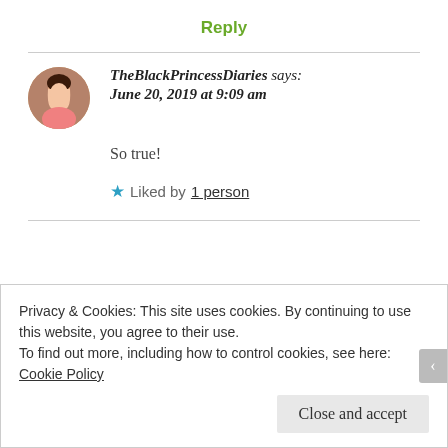Reply
TheBlackPrincessDiaries says: June 20, 2019 at 9:09 am
So true!
★ Liked by 1 person
Privacy & Cookies: This site uses cookies. By continuing to use this website, you agree to their use.
To find out more, including how to control cookies, see here: Cookie Policy
Close and accept